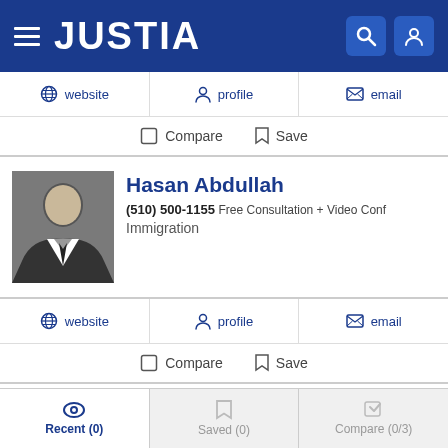JUSTIA
website  profile  email
Compare  Save
Hasan Abdullah
(510) 500-1155 Free Consultation + Video Conf
Immigration
website  profile  email
Compare  Save
James Gulseth
Recent (0)  Saved (0)  Compare (0/3)